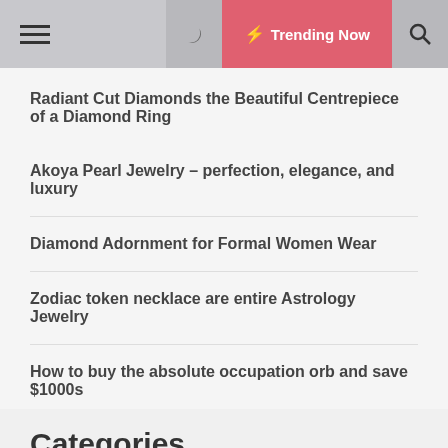Trending Now
Radiant Cut Diamonds the Beautiful Centrepiece of a Diamond Ring
Akoya Pearl Jewelry – perfection, elegance, and luxury
Diamond Adornment for Formal Women Wear
Zodiac token necklace are entire Astrology Jewelry
How to buy the absolute occupation orb and save $1000s
Categories
Radiant Cut Diamonds the Beautiful Centrepiece of a Diamond Ring
Akoya Pearl elegance, an